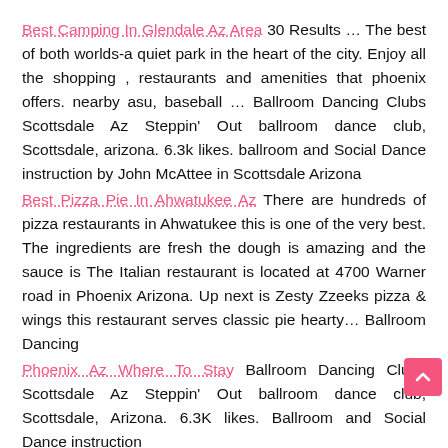Best Camping In Glendale Az Area 30 Results … The best of both worlds-a quiet park in the heart of the city. Enjoy all the shopping , restaurants and amenities that phoenix offers. nearby asu, baseball … Ballroom Dancing Clubs Scottsdale Az Steppin' Out ballroom dance club, Scottsdale, arizona. 6.3k likes. ballroom and Social Dance instruction by John McAttee in Scottsdale Arizona
Best Pizza Pie In Ahwatukee Az There are hundreds of pizza restaurants in Ahwatukee this is one of the very best. The ingredients are fresh the dough is amazing and the sauce is The Italian restaurant is located at 4700 Warner road in Phoenix Arizona. Up next is Zesty Zzeeks pizza & wings this restaurant serves classic pie hearty… Ballroom Dancing
Phoenix Az Where To Stay Ballroom Dancing Clubs Scottsdale Az Steppin' Out ballroom dance club, Scottsdale, Arizona. 6.3K likes. Ballroom and Social Dance instruction